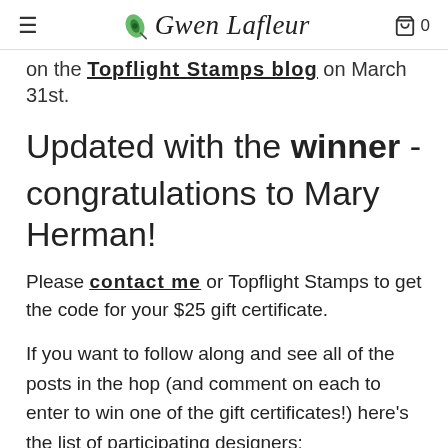Gwen Lafleur  0
on the Topflight Stamps blog on March 31st.
Updated with the winner - congratulations to Mary Herman!
Please contact me or Topflight Stamps to get the code for your $25 gift certificate.
If you want to follow along and see all of the posts in the hop (and comment on each to enter to win one of the gift certificates!) here's the list of participating designers: